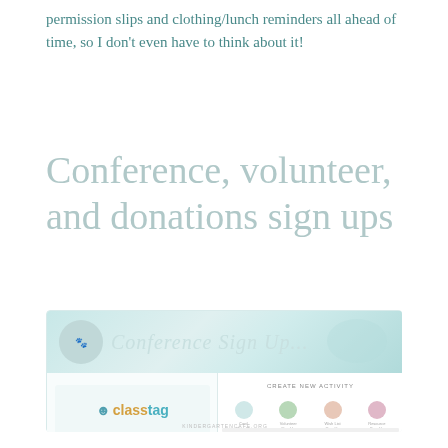permission slips and clothing/lunch reminders all ahead of time, so I don't even have to think about it!
Conference, volunteer, and donations sign ups
[Figure (screenshot): Screenshot of a Classtag conference sign-up interface showing a logo, left panel with form fields for conference sign-up, and right panel with 'Create New Activity' options including icons for different activity types and action buttons.]